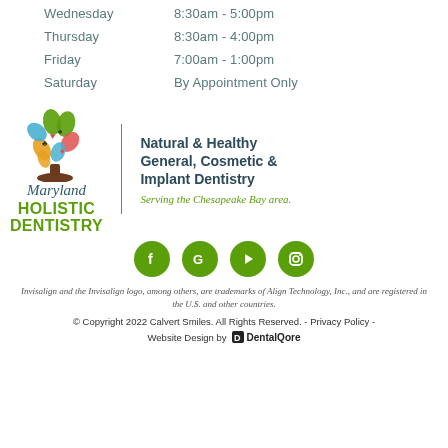Wednesday    8:30am - 5:00pm
Thursday    8:30am - 4:00pm
Friday    7:00am - 1:00pm
Saturday    By Appointment Only
[Figure (logo): Maryland Holistic Dentistry logo with colorful tree graphic, text 'Maryland HOLISTIC DENTISTRY' and tagline 'Natural & Healthy General, Cosmetic & Implant Dentistry. Serving the Chesapeake Bay area.']
[Figure (infographic): Four green circular social media icons: Facebook (f), Google (G), YouTube (play button), Instagram (camera)]
Invisalign and the Invisalign logo, among others, are trademarks of Align Technology, Inc., and are registered in the U.S. and other countries.
© Copyright 2022 Calvert Smiles. All Rights Reserved. - Privacy Policy - Website Design by DentalQore